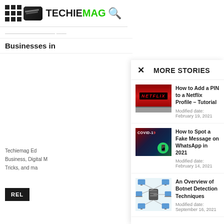TECHIEMAG
Businesses in...
MORE STORIES
[Figure (photo): Netflix logo on laptop screen]
How to Add a PIN to a Netflix Profile – Tutorial
Modified date: February 19, 2021
[Figure (photo): COVID-19 text with WhatsApp logo on phone]
How to Spot a Fake Message on WhatsApp in 2021
Modified date: February 14, 2021
[Figure (infographic): Network diagram showing botnet detection with connected devices]
An Overview of Botnet Detection Techniques
Modified date: September 16, 2021
Techiemag Ed...
Business, Digital M...
Tricks, and ma...
REL...